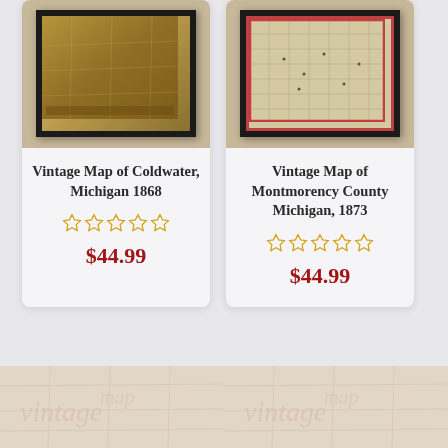[Figure (illustration): Framed vintage map of Coldwater Michigan 1868, shown as a product image in a dark frame with brownish-gold tones]
Vintage Map of Coldwater, Michigan 1868
[Figure (other): 5-star rating widget showing 0 stars filled (empty stars) in gold/orange outline]
$44.99
[Figure (illustration): Framed vintage map of Montmorency County Michigan 1873, shown as a product image in a dark frame with beige/cream tones and red border grid]
Vintage Map of Montmorency County Michigan, 1873
[Figure (other): 5-star rating widget showing 0 stars filled (empty stars) in gold/orange outline]
$44.99